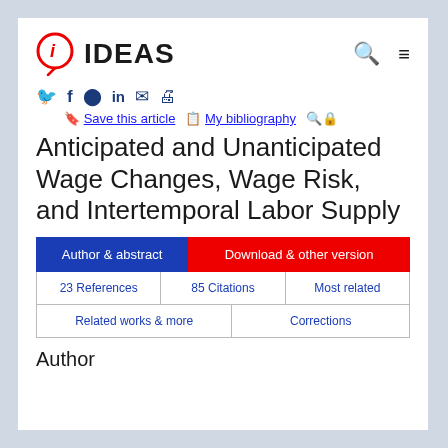[Figure (logo): IDEAS logo: red circle with 'i' and lightbulb stem, followed by bold text 'IDEAS']
Save this article   My bibliography
Anticipated and Unanticipated Wage Changes, Wage Risk, and Intertemporal Labor Supply
Author & abstract | Download & other version | 23 References | 85 Citations | Most related | Related works & more | Corrections
Author